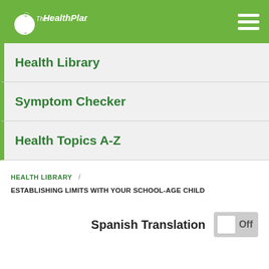TheHealthPlan
Health Library
Symptom Checker
Health Topics A-Z
HEALTH LIBRARY / ESTABLISHING LIMITS WITH YOUR SCHOOL-AGE CHILD
Spanish Translation Off